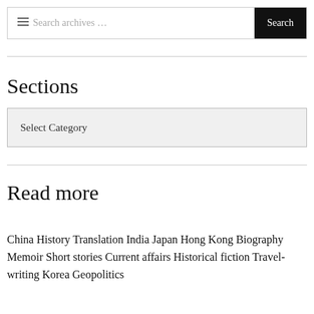Search archives …  Search
Sections
Select Category
Read more
China History Translation India Japan Hong Kong Biography Memoir Short stories Current affairs Historical fiction Travel-writing Korea Geopolitics